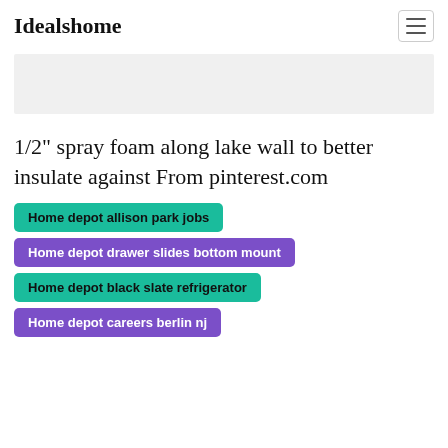Idealshome
[Figure (other): Light gray advertisement banner placeholder]
1/2" spray foam along lake wall to better insulate against From pinterest.com
Home depot allison park jobs
Home depot drawer slides bottom mount
Home depot black slate refrigerator
Home depot careers berlin nj